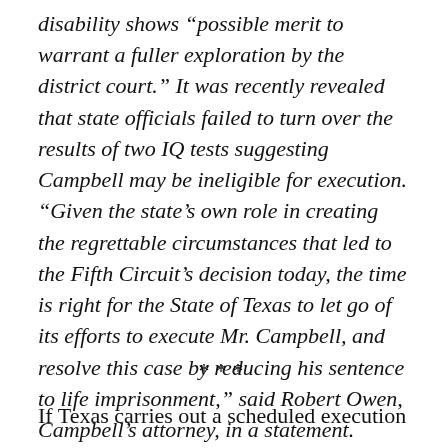disability shows “possible merit to warrant a fuller exploration by the district court.” It was recently revealed that state officials failed to turn over the results of two IQ tests suggesting Campbell may be ineligible for execution. “Given the state’s own role in creating the regrettable circumstances that led to the Fifth Circuit’s decision today, the time is right for the State of Texas to let go of its efforts to execute Mr. Campbell, and resolve this case by reducing his sentence to life imprisonment,” said Robert Owen, Campbell’s attorney, in a statement.
***
If Texas carries out a scheduled execution